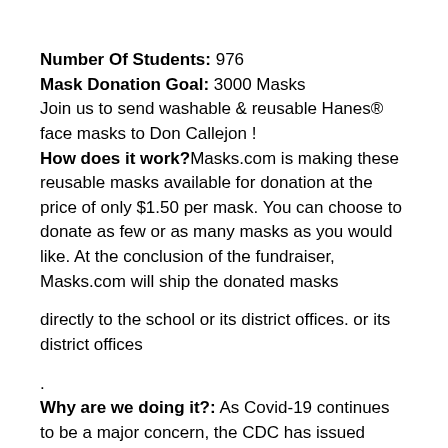Number Of Students: 976
Mask Donation Goal: 3000 Masks
Join us to send washable & reusable Hanes® face masks to Don Callejon !
How does it work?Masks.com is making these reusable masks available for donation at the price of only $1.50 per mask. You can choose to donate as few or as many masks as you would like. At the conclusion of the fundraiser, Masks.com will ship the donated masks
directly to the school or its district offices. or its district offices
.
Why are we doing it?: As Covid-19 continues to be a major concern, the CDC has issued guidance that people should wear cloth face masks in closed environments. That's why we're #WorkingTogether